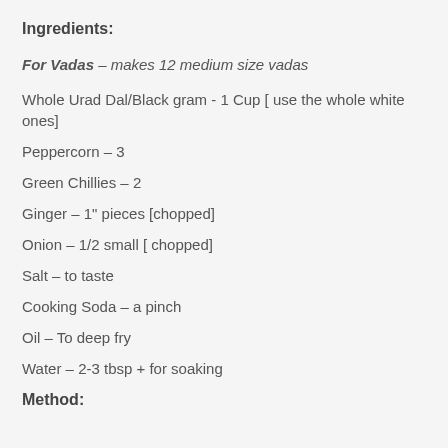Ingredients:
For Vadas – makes 12 medium size vadas
Whole Urad Dal/Black gram - 1 Cup [ use the whole white ones]
Peppercorn – 3
Green Chillies – 2
Ginger – 1" pieces [chopped]
Onion – 1/2 small [ chopped]
Salt – to taste
Cooking Soda – a pinch
Oil – To deep fry
Water – 2-3 tbsp + for soaking
Method: